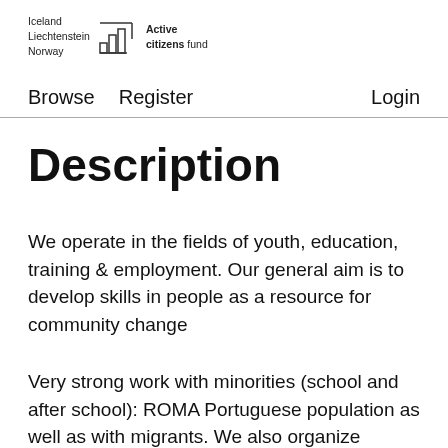Iceland Liechtenstein Norway Active citizens fund
Browse   Register   Login
Description
We operate in the fields of youth, education, training & employment. Our general aim is to develop skills in people as a resource for community change
Very strong work with minorities (school and after school): ROMA Portuguese population as well as with migrants. We also organize training courses. Fields: employment, socio-cultural integration, children, youth, education, and